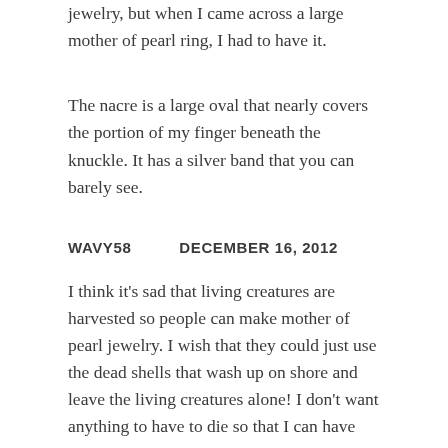jewelry, but when I came across a large mother of pearl ring, I had to have it.
The nacre is a large oval that nearly covers the portion of my finger beneath the knuckle. It has a silver band that you can barely see.
WAVY58        DECEMBER 16, 2012
I think it's sad that living creatures are harvested so people can make mother of pearl jewelry. I wish that they could just use the dead shells that wash up on shore and leave the living creatures alone! I don't want anything to have to die so that I can have jewelry.